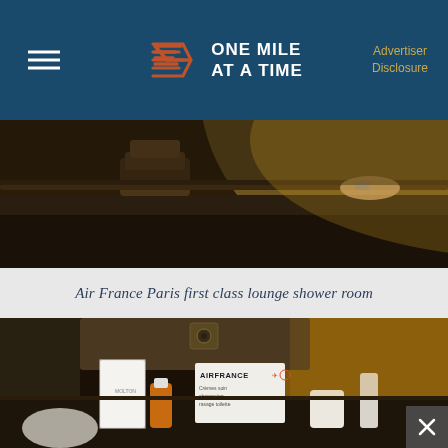ONE MILE AT A TIME — Advertiser Disclosure
[Figure (photo): Air France Paris first class lounge shower room — close-up of dark countertop with rolled towels and a hand near a ledge, warm yellowish ambient lighting]
Air France Paris first class lounge shower room
[Figure (photo): Air France Paris first class lounge shower room amenities — toiletries, white box products with Air France branding, a small orange bottle, and other personal care items on a shelf, with warm golden light from above]